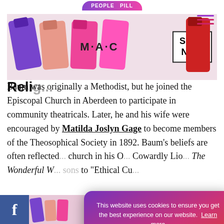[Figure (screenshot): MAC cosmetics advertisement banner with lipstick products and SHOP NOW box]
Reli...
Baum was originally a Methodist, but he joined the Episcopal Church in Aberdeen to participate in community theatricals. Later, he and his wife were encouraged by Matilda Joslyn Gage to become members of the Theosophical Society in 1892. Baum’s beliefs are often reflected... church in his O... Cowardly Lio... The Wonderful W... sons to "Ethical Cu...
[Figure (screenshot): Cookie consent popup: 'This website uses cookies to ensure you get the best experience on our website. Learn more' with 'Got it!' button]
[Figure (screenshot): Bottom navigation bar with Facebook icon, MAC ad banner, and WhatsApp icon]